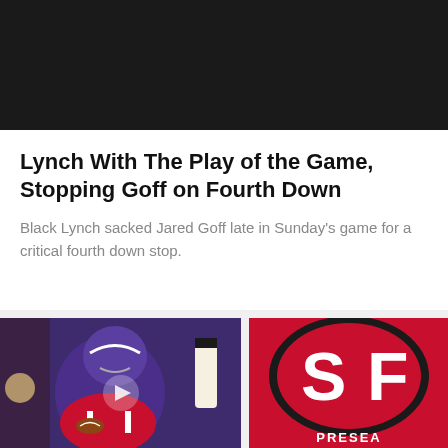[Figure (photo): Black video thumbnail placeholder at the top of the card]
Lynch With The Play of the Game, Stopping Goff on Fourth Down
Black Lynch sacked Jared Goff late in Sunday's game for a critical fourth down stop.
[Figure (photo): Football action photo: Minnesota Vikings player in purple helmet tackling a 49ers player in red and white uniform, referee visible in background]
[Figure (logo): San Francisco 49ers logo on red background with partial text PRESEA at bottom]